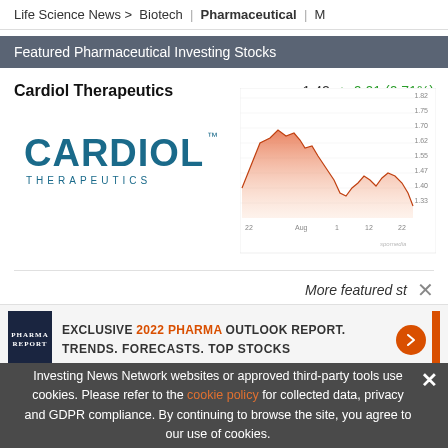Life Science News > Biotech | Pharmaceutical | M
Featured Pharmaceutical Investing Stocks
Cardiol Therapeutics    1.42  0.01 (0.71%)
[Figure (logo): Cardiol Therapeutics logo — teal/blue CARDIOL THERAPEUTICS text]
[Figure (line-chart): Stock price chart for Cardiol Therapeutics showing price history with red/orange shaded area, declining then partial recovery, range approximately 1.33 to 1.82]
More featured st  ×
[Figure (infographic): Advertisement: EXCLUSIVE 2022 PHARMA OUTLOOK REPORT. TRENDS. FORECASTS. TOP STOCKS. with orange arrow button and orange sidebar]
Top Pharmaceutical Investing Stocks
Investing News Network websites or approved third-party tools use cookies. Please refer to the cookie policy for collected data, privacy and GDPR compliance. By continuing to browse the site, you agree to our use of cookies.